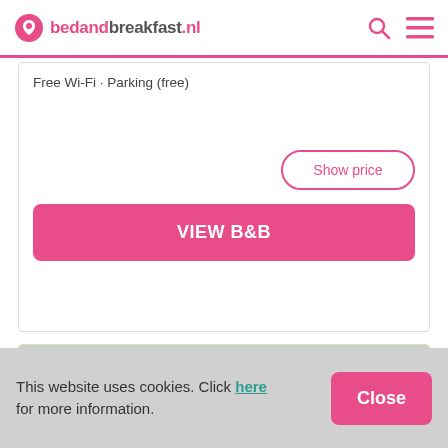bedandbreakfast.nl
Free Wi-Fi · Parking (free)
Show price
VIEW B&B
[Figure (photo): Photograph of a roof with grey tiles and Velux-style skylights, with green trees visible on the left]
This website uses cookies. Click here for more information.
Close